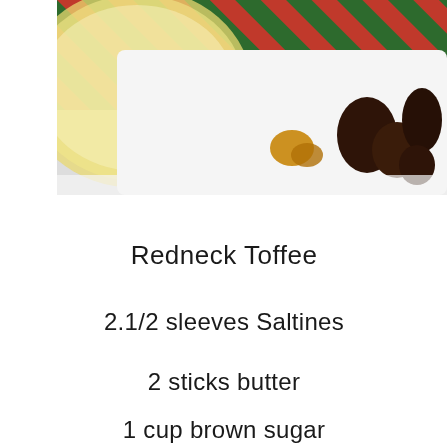[Figure (photo): Photo of a holiday tin with red and green diagonal stripes, a white tray containing chocolate candies and a golden pretzel piece]
Redneck Toffee
2.1/2 sleeves Saltines
2 sticks butter
1 cup brown sugar